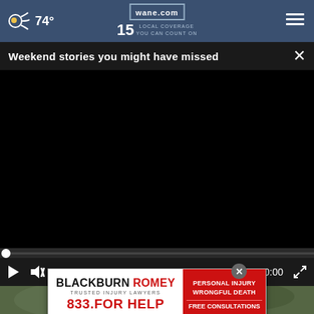74° wane.com 15 LOCAL COVERAGE YOU CAN COUNT ON
Weekend stories you might have missed
[Figure (screenshot): Black video player area with progress bar and playback controls showing 00:00 timestamp]
[Figure (photo): Partial photo visible below video player showing person in camouflage military gear]
[Figure (other): Advertisement banner for Blackburn Romey Trusted Injury Lawyers - 833.FOR HELP - Personal Injury Wrongful Death - Free Consultations]